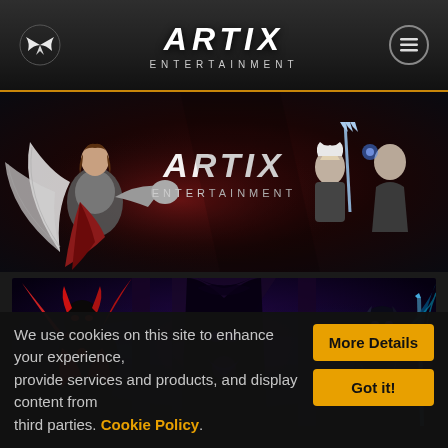ARTIX ENTERTAINMENT
[Figure (illustration): Artix Entertainment banner with anime-style characters including a warrior with wings and armored fighters on dark red background with ARTIX ENTERTAINMENT logo]
[Figure (illustration): Dark fantasy game art showing three armored villain characters in purple and red tones against a dark mystical background]
We use cookies on this site to enhance your experience, provide services and products, and display content from third parties. Cookie Policy.